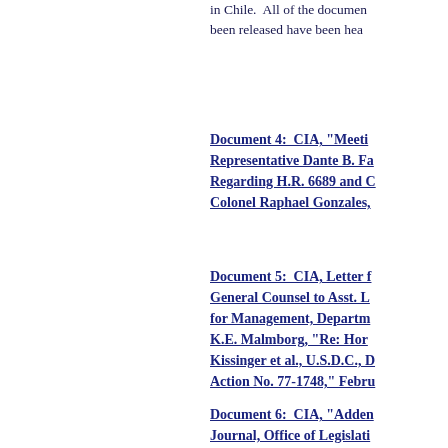in Chile.  All of the documen been released have been hea
Document 4:  CIA, "Meeti Representative Dante B. Fa Regarding H.R. 6689 and C Colonel Raphael Gonzales,
Document 5:  CIA, Letter f General Counsel to Asst. L for Management, Departm K.E. Malmborg, "Re: Hor Kissinger et al., U.S.D.C., D Action No. 77-1748," Febru
Document 6:  CIA, "Adden Journal, Office of Legislati October 7, 1977